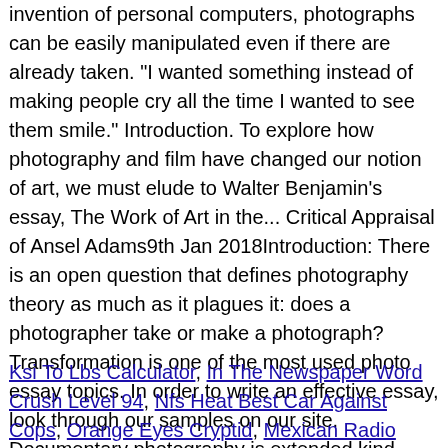invention of personal computers, photographs can be easily manipulated even if there are already taken. "I wanted something instead of making people cry all the time I wanted to see them smile." Introduction. To explore how photography and film have changed our notion of art, we must elude to Walter Benjamin's essay, The Work of Art in the... Critical Appraisal of Ansel Adams9th Jan 2018Introduction: There is an open question that defines photography theory as much as it plagues it: does a photographer take or make a photograph? Transformation is one of the most used photo essay topics. In order to write an effective essay, look through our samples on our site. Documentary photography is extended kind – that's, a piece composed of a sizeable range of pictures. Your email address will not be published.
Ksi To Lbs Calculator, In The Newspaper Word Crush Level 94, Nfs Heat Best Car Against Cops, Orange Eyes Cryptid, Mexican Radio